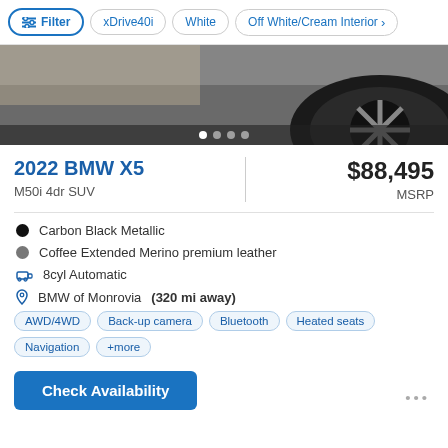Filter | xDrive40i | White | Off White/Cream Interior
[Figure (photo): Car wheel/tire close-up photo with carousel navigation dots below]
2022 BMW X5
M50i 4dr SUV
$88,495 MSRP
Carbon Black Metallic
Coffee Extended Merino premium leather
8cyl Automatic
BMW of Monrovia (320 mi away)
AWD/4WD  Back-up camera  Bluetooth  Heated seats  Navigation  +more
Check Availability